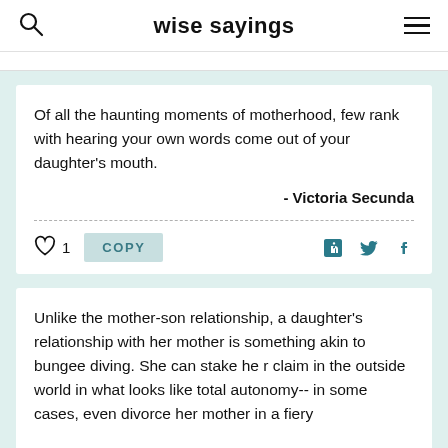wise sayings
Of all the haunting moments of motherhood, few rank with hearing your own words come out of your daughter's mouth.
- Victoria Secunda
Unlike the mother-son relationship, a daughter's relationship with her mother is something akin to bungee diving. She can stake he r claim in the outside world in what looks like total autonomy-- in some cases, even divorce her mother in a fiery